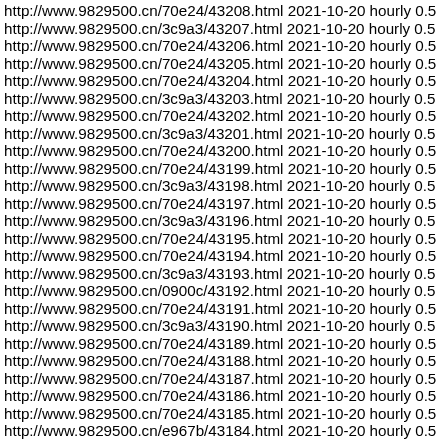http://www.9829500.cn/70e24/43208.html 2021-10-20 hourly 0.5
http://www.9829500.cn/3c9a3/43207.html 2021-10-20 hourly 0.5
http://www.9829500.cn/70e24/43206.html 2021-10-20 hourly 0.5
http://www.9829500.cn/70e24/43205.html 2021-10-20 hourly 0.5
http://www.9829500.cn/70e24/43204.html 2021-10-20 hourly 0.5
http://www.9829500.cn/3c9a3/43203.html 2021-10-20 hourly 0.5
http://www.9829500.cn/70e24/43202.html 2021-10-20 hourly 0.5
http://www.9829500.cn/3c9a3/43201.html 2021-10-20 hourly 0.5
http://www.9829500.cn/70e24/43200.html 2021-10-20 hourly 0.5
http://www.9829500.cn/70e24/43199.html 2021-10-20 hourly 0.5
http://www.9829500.cn/3c9a3/43198.html 2021-10-20 hourly 0.5
http://www.9829500.cn/70e24/43197.html 2021-10-20 hourly 0.5
http://www.9829500.cn/3c9a3/43196.html 2021-10-20 hourly 0.5
http://www.9829500.cn/70e24/43195.html 2021-10-20 hourly 0.5
http://www.9829500.cn/70e24/43194.html 2021-10-20 hourly 0.5
http://www.9829500.cn/3c9a3/43193.html 2021-10-20 hourly 0.5
http://www.9829500.cn/0900c/43192.html 2021-10-20 hourly 0.5
http://www.9829500.cn/70e24/43191.html 2021-10-20 hourly 0.5
http://www.9829500.cn/3c9a3/43190.html 2021-10-20 hourly 0.5
http://www.9829500.cn/70e24/43189.html 2021-10-20 hourly 0.5
http://www.9829500.cn/70e24/43188.html 2021-10-20 hourly 0.5
http://www.9829500.cn/70e24/43187.html 2021-10-20 hourly 0.5
http://www.9829500.cn/70e24/43186.html 2021-10-20 hourly 0.5
http://www.9829500.cn/70e24/43185.html 2021-10-20 hourly 0.5
http://www.9829500.cn/e967b/43184.html 2021-10-20 hourly 0.5